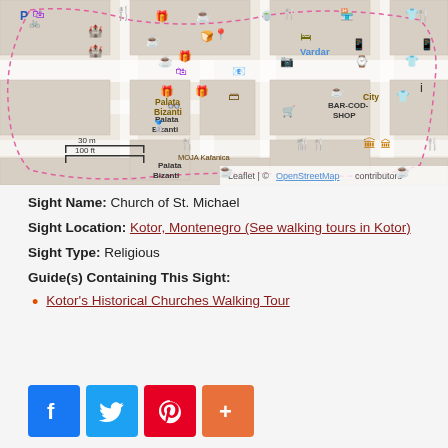[Figure (map): OpenStreetMap street map of Kotor, Montenegro showing tourist sights with icons for restaurants, shops, museums, cafes. Labels visible include Vardar, BAR-COD-SHOP, Palata Bizanti, MOJA Kafanica, City. Scale bar shows 30m / 100ft. Attribution: Leaflet | © OpenStreetMap contributors.]
Sight Name: Church of St. Michael
Sight Location: Kotor, Montenegro (See walking tours in Kotor)
Sight Type: Religious
Guide(s) Containing This Sight:
Kotor's Historical Churches Walking Tour
[Figure (other): Social sharing buttons: Facebook (blue), Twitter (light blue), Pinterest (red), More/Plus (orange-red)]